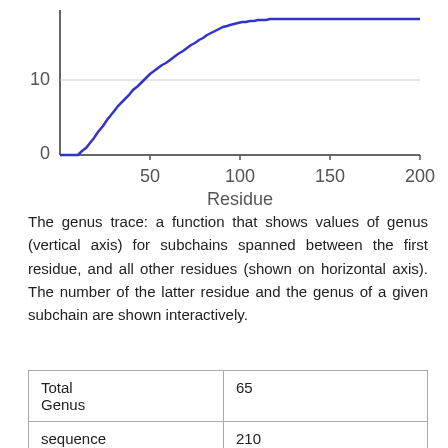[Figure (continuous-plot): Line chart (genus trace) showing genus values on the vertical axis (0 to above 10) versus residue number on the horizontal axis (0 to ~200). The blue line starts at 0, rises steeply in a step-like fashion between residues ~20 and ~60, then levels off at approximately 12-13 for residues beyond ~70.]
The genus trace: a function that shows values of genus (vertical axis) for subchains spanned between the first residue, and all other residues (shown on horizontal axis). The number of the latter residue and the genus of a given subchain are shown interactively.
| Total Genus | 65 |
| sequence length | 210 |